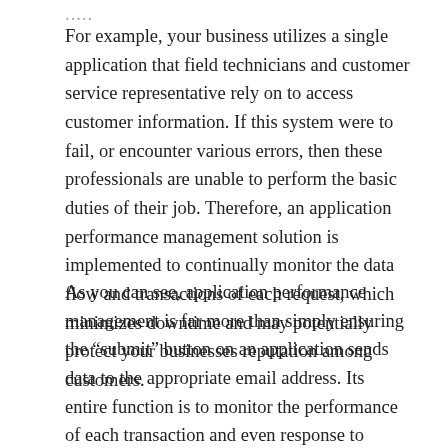For example, your business utilizes a single application that field technicians and customer service representative rely on to access customer information. If this system were to fail, or encounter various errors, then these professionals are unable to perform the basic duties of their job. Therefore, an application performance management solution is implemented to continually monitor the data flow and transactions of each request, which minimizes downtime and may potentially protect your businesses reputation among customers.
As you can see, application performance management is far more than simply ensuring the “submit” button on an application sends data to the appropriate email address. Its entire function is to monitor the performance of each transaction and even response to ensure 100% uptime. Regardless of the size of your business, adopt an effective APM solution today. You can learn this, or more, th...